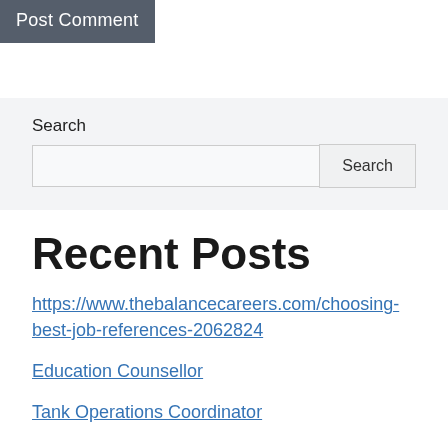Post Comment
Search
Recent Posts
https://www.thebalancecareers.com/choosing-best-job-references-2062824
Education Counsellor
Tank Operations Coordinator